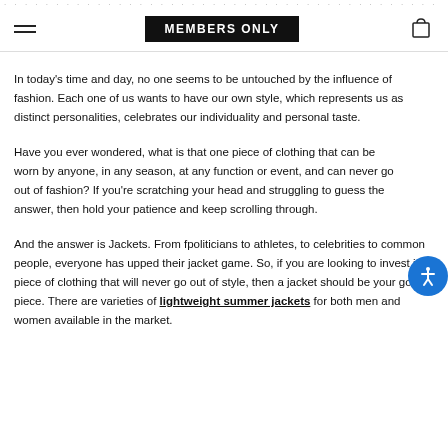MEMBERS ONLY
In today's time and day, no one seems to be untouched by the influence of fashion. Each one of us wants to have our own style, which represents us as distinct personalities, celebrates our individuality and personal taste.
Have you ever wondered, what is that one piece of clothing that can be worn by anyone, in any season, at any function or event, and can never go out of fashion? If you're scratching your head and struggling to guess the answer, then hold your patience and keep scrolling through.
And the answer is Jackets. From fpoliticians to athletes, to celebrities to common people, everyone has upped their jacket game. So, if you are looking to invest in a piece of clothing that will never go out of style, then a jacket should be your go-to piece. There are varieties of lightweight summer jackets for both men and women available in the market.